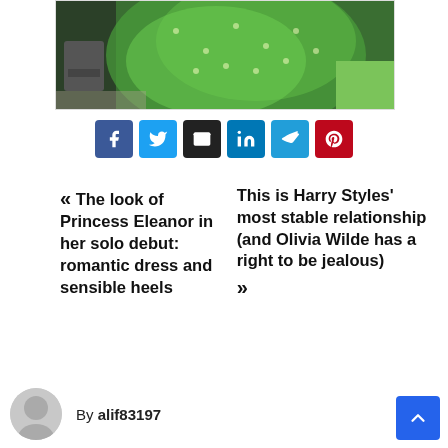[Figure (photo): Photo of a large green fan-like or peacock-tail shaped garment/object outdoors near grass and a patio chair]
[Figure (infographic): Social share buttons: Facebook, Twitter, Email, LinkedIn, Telegram, Pinterest]
« The look of Princess Eleanor in her solo debut: romantic dress and sensible heels
This is Harry Styles’ most stable relationship (and Olivia Wilde has a right to be jealous) »
By alif83197